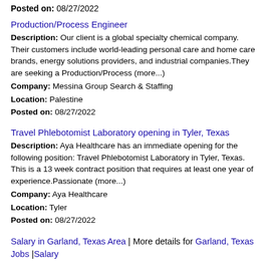Posted on: 08/27/2022
Production/Process Engineer
Description: Our client is a global specialty chemical company. Their customers include world-leading personal care and home care brands, energy solutions providers, and industrial companies.They are seeking a Production/Process (more...) Company: Messina Group Search & Staffing Location: Palestine Posted on: 08/27/2022
Travel Phlebotomist Laboratory opening in Tyler, Texas
Description: Aya Healthcare has an immediate opening for the following position: Travel Phlebotomist Laboratory in Tyler, Texas. This is a 13 week contract position that requires at least one year of experience.Passionate (more...) Company: Aya Healthcare Location: Tyler Posted on: 08/27/2022
Salary in Garland, Texas Area | More details for Garland, Texas Jobs |Salary